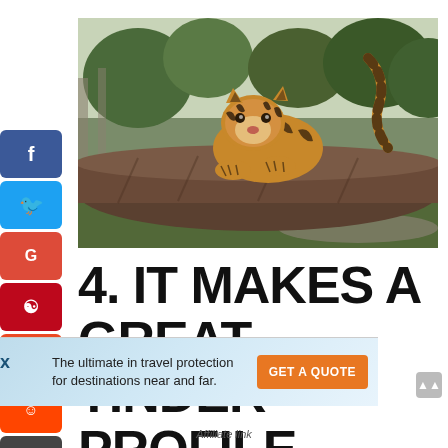[Figure (photo): A tiger cub crouching on a large log in an enclosure, looking at the camera. Another tiger's striped tail is visible in the background.]
4. IT MAKES A GREAT TINDER PROFILE
[Figure (other): Travelex Insurance Services advertisement banner: 'The ultimate in travel protection for destinations near and far.' with GET A QUOTE button]
Affiliate link